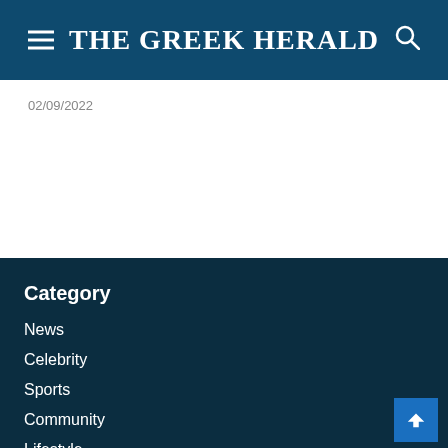THE GREEK HERALD
02/09/2022
Category
News
Celebrity
Sports
Community
Lifestyle